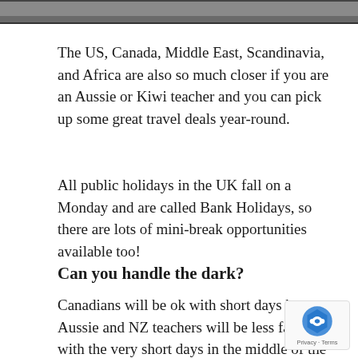[Figure (photo): Partial photo strip at top of page showing people]
The US, Canada, Middle East, Scandinavia, and Africa are also so much closer if you are an Aussie or Kiwi teacher and you can pick up some great travel deals year-round.
All public holidays in the UK fall on a Monday and are called Bank Holidays, so there are lots of mini-break opportunities available too!
Can you handle the dark?
Canadians will be ok with short days but Aussie and NZ teachers will be less familiar with the very short days in the middle of the British winter and that you may find yourself heading home from school in the dark.